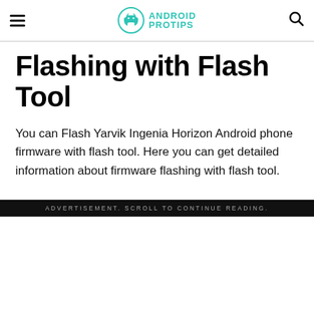ANDROID PROTIPS
Flashing with Flash Tool
You can Flash Yarvik Ingenia Horizon Android phone firmware with flash tool. Here you can get detailed information about firmware flashing with flash tool.
ADVERTISEMENT. SCROLL TO CONTINUE READING.